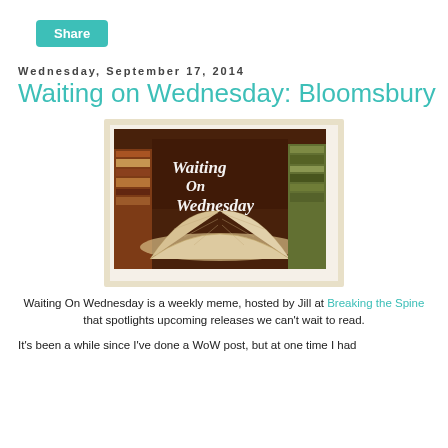Share
Wednesday, September 17, 2014
Waiting on Wednesday: Bloomsbury
[Figure (photo): Waiting On Wednesday logo image: an open book with stacked books in the background, with stylized script text reading 'Waiting On Wednesday']
Waiting On Wednesday is a weekly meme, hosted by Jill at Breaking the Spine that spotlights upcoming releases we can't wait to read.
It's been a while since I've done a WoW post, but at one time I had